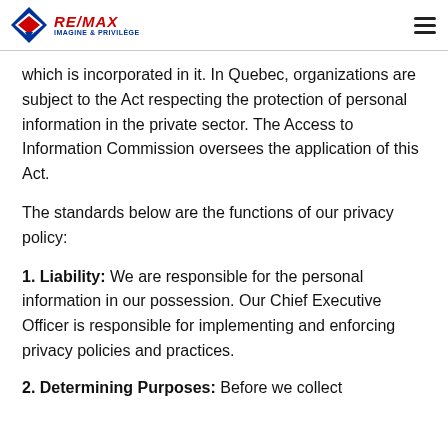RE/MAX IMAGINE & PRIVILÈGE
which is incorporated in it. In Quebec, organizations are subject to the Act respecting the protection of personal information in the private sector. The Access to Information Commission oversees the application of this Act.
The standards below are the functions of our privacy policy:
1. Liability: We are responsible for the personal information in our possession. Our Chief Executive Officer is responsible for implementing and enforcing privacy policies and practices.
2. Determining Purposes: Before we collect